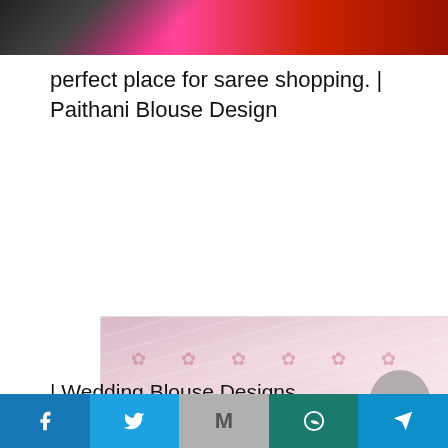[Figure (photo): Cropped top portion of women in colorful sarees, pink and red tones visible]
perfect place for saree shopping. | Paithani Blouse Design
[Figure (photo): Light pink/blush lehenga or saree with floral embroidery/beadwork, spreading out, with green plants and decorative background visible]
| Wedding Blouse Designs
Facebook  Twitter  Mail  WhatsApp  Share